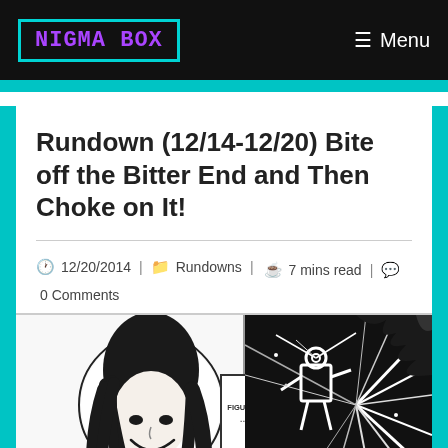NIGMA BOX | Menu
Rundown (12/14-12/20) Bite off the Bitter End and Then Choke on It!
12/20/2014 | Rundowns | 7 mins read | 0 Comments
[Figure (illustration): Manga-style black and white illustration showing two characters: on the left, a character with long dark hair smiling, and on the right, a dynamic action scene with spiky dark lines and a robot-like figure. Text 'FIGURES...' appears in the middle.]